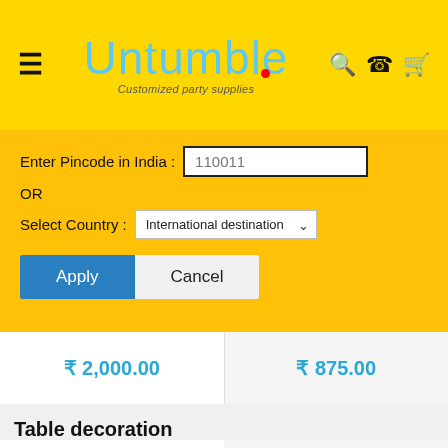[Figure (screenshot): Untumble website header with yellow background, hamburger menu icon on left, Untumble logo in blue cursive text with tagline 'Customized party supplies', and search, WhatsApp, and cart icons on right]
Enter Pincode in India : 110011
OR
Select Country : International destination
Apply
Cancel
₹ 2,000.00
₹ 875.00
Table decoration
[Figure (photo): Party cake topper decoration showing a prince on a white horse with blue circular signs on sticks, prince theme party decoration]
[Figure (photo): Party cake topper decoration showing a prince figure with blue circular signs on sticks, prince theme party decoration]